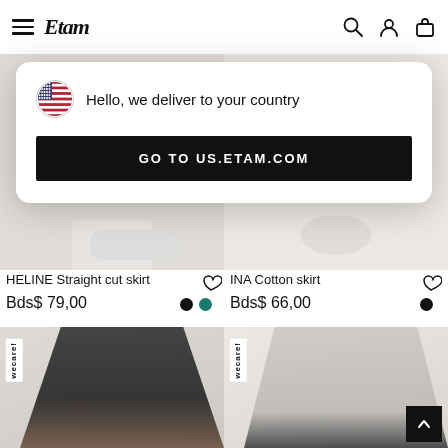[Figure (screenshot): Etam e-commerce website header with hamburger menu, Etam logo in italic script, and icons for search, account, and bag]
[Figure (infographic): Popup/modal overlay showing US flag emoji, text 'Hello, we deliver to your country', and a black button 'GO TO US.ETAM.COM']
HELINE Straight cut skirt
Bds$ 79,00
INA Cotton skirt
Bds$ 66,00
[Figure (photo): Red-haired woman wearing black wrap cardigan and rust/brown skirt with a 'wecare!' label tag on the left]
[Figure (photo): Red-haired woman wearing light grey V-neck long sleeve top with a 'wecare!' label tag on the left]